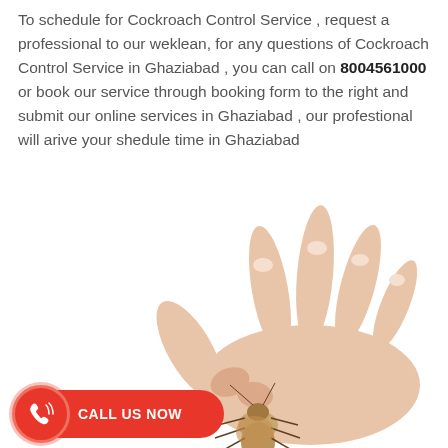To schedule for Cockroach Control Service , request a professional to our weklean, for any questions of Cockroach Control Service in Ghaziabad , you can call on 8004561000 or book our service through booking form to the right and submit our online services in Ghaziabad , our profestional will arive your shedule time in Ghaziabad
[Figure (photo): A hand pinching a cockroach between fingers against a white background]
CALL US NOW